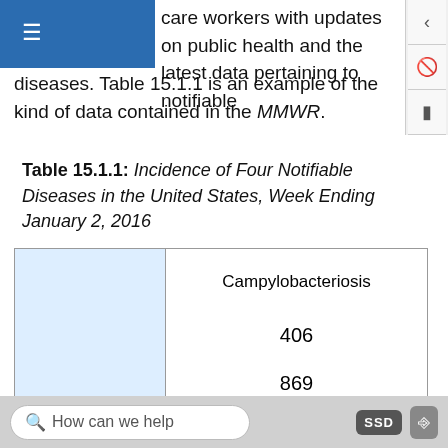care workers with updates on public health and the latest data pertaining to notifiable diseases. Table 15.1.1 is an example of the kind of data contained in the MMWR.
Table 15.1.1: Incidence of Four Notifiable Diseases in the United States, Week Ending January 2, 2016
|  | Campylobacteriosis |
| --- | --- |
|  | 406 |
|  | 869 |
|  | 1,385 |
|  | 46,618 |
|  | Chlamydia trachomatis infection |